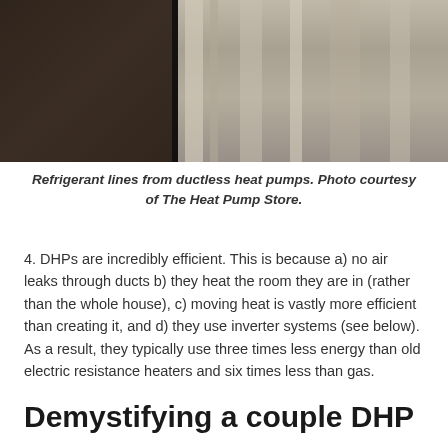[Figure (photo): Photo of refrigerant lines from ductless heat pumps. Left side shows dark brown/black surface texture, right side shows light grey metallic tubes/lines against a lighter background, with a dark vertical dividing line.]
Refrigerant lines from ductless heat pumps. Photo courtesy of The Heat Pump Store.
4. DHPs are incredibly efficient. This is because a) no air leaks through ducts b) they heat the room they are in (rather than the whole house), c) moving heat is vastly more efficient than creating it, and d) they use inverter systems (see below). As a result, they typically use three times less energy than old electric resistance heaters and six times less than gas.
Demystifying a couple DHP